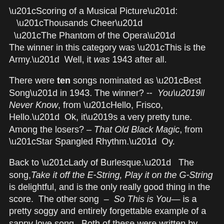“Scoring of a Musical Picture”: “Thousands Cheer” “The Phantom of the Opera” The winner in this category was “This is the Army.” Well, it was 1943 after all.
There were ten songs nominated as “Best Song” in 1943. The winner? -- You’ll Never Know, from “Hello, Frisco, Hello.” Ok, it’s a very pretty tune. Among the losers? – That Old Black Magic, from “Star Spangled Rhythm.” Oy.
Back to “Lady of Burlesque.” The song, Take it off the E-String, Play it on the G-String is delightful, and is the only really good thing in the score. The other song – So This is You— is a pretty soggy and entirely forgettable example of a sappy love song. Both of these were written by Sammy Cahn and Harry Akst. Nominated 23 times for an Oscar and winner 4 times, Cahn was the lyricist for such songs as Come Fly with Me, Call Me Irresponsible, My Kind of Town, and hundreds of others. Harry Akst wrote music for Broadway, the movies and tv from 1929 through 1962; some of his best known songs are – Baby Face, Am I Blue? and